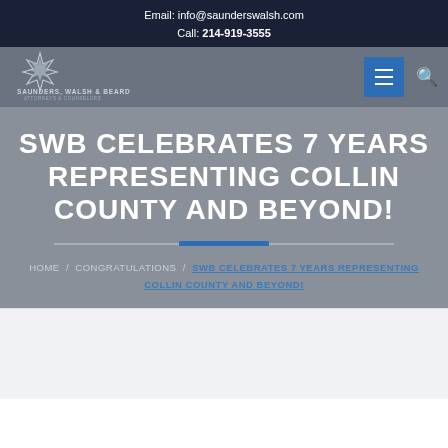Email: info@saunderswalsh.com
Call: 214-919-3555
[Figure (logo): Saunders Walsh & Beard Attorneys & Counselors logo with star emblem]
SWB CELEBRATES 7 YEARS REPRESENTING COLLIN COUNTY AND BEYOND!
HOME / CONGRATULATIONS / SWB CELEBRATES 7 YEARS REPRESENTING COLLIN COUNTY AND BEYOND!